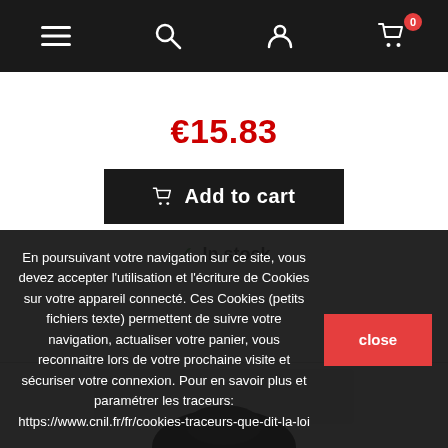Navigation bar with menu, search, account, and cart icons (0 items)
€15.83
Add to cart
In stock
[Figure (photo): Product image area showing a partially visible dark round object at the bottom]
En poursuivant votre navigation sur ce site, vous devez accepter l'utilisation et l'écriture de Cookies sur votre appareil connecté. Ces Cookies (petits fichiers texte) permettent de suivre votre navigation, actualiser votre panier, vous reconnaitre lors de votre prochaine visite et sécuriser votre connexion. Pour en savoir plus et paramétrer les traceurs: https://www.cnil.fr/fr/cookies-traceurs-que-dit-la-loi
close